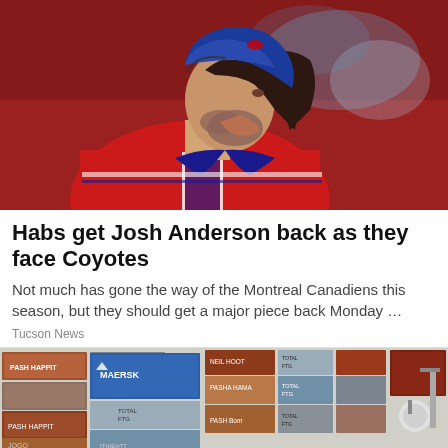[Figure (photo): Hockey player wearing a blue helmet and red Montreal Canadiens jersey, shown in profile view, with a reddish arena background and spectators blurred in background.]
Habs get Josh Anderson back as they face Coyotes
Not much has gone the way of the Montreal Canadiens this season, but they should get a major piece back Monday …
Tucson News
[Figure (photo): Stacked shipping containers in various colors including blue, red, brown, and grey, with MAERSK branding visible on one container.]